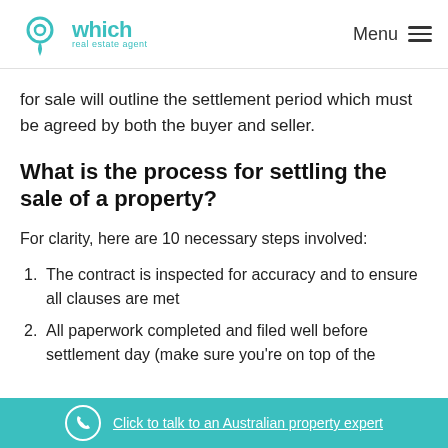which real estate agent — Menu
for sale will outline the settlement period which must be agreed by both the buyer and seller.
What is the process for settling the sale of a property?
For clarity, here are 10 necessary steps involved:
1. The contract is inspected for accuracy and to ensure all clauses are met
2. All paperwork completed and filed well before settlement day (make sure you're on top of the
Click to talk to an Australian property expert